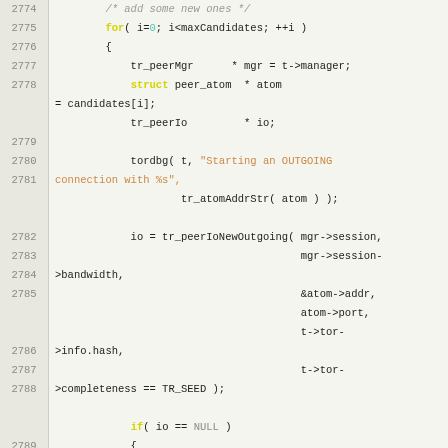[Figure (screenshot): Source code listing showing C code lines 2774-2799 with line numbers on the left. Code shows a loop adding new peer connections with tordbg logging, tr_peerIoNewOutgoing call, NULL check, and tr_handshakeNew call.]